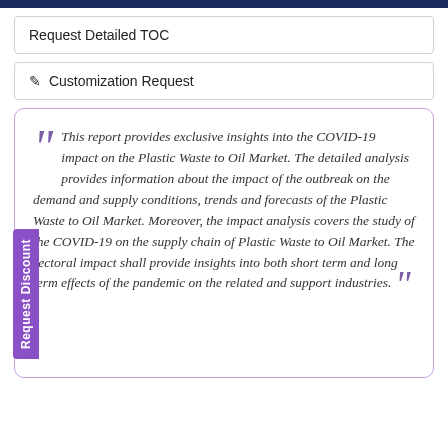Request Detailed TOC
Customization Request
This report provides exclusive insights into the COVID-19 impact on the Plastic Waste to Oil Market. The detailed analysis provides information about the impact of the outbreak on the demand and supply conditions, trends and forecasts of the Plastic Waste to Oil Market. Moreover, the impact analysis covers the study of the COVID-19 on the supply chain of Plastic Waste to Oil Market. The sectoral impact shall provide insights into both short term and long term effects of the pandemic on the related and support industries.